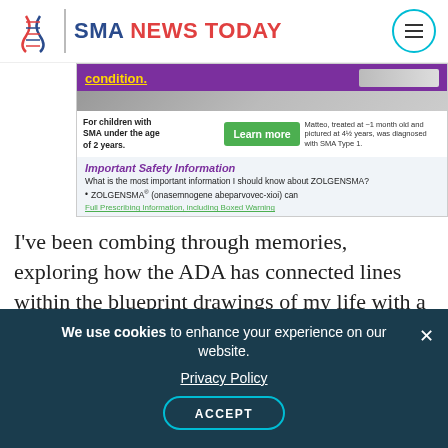SMA NEWS TODAY
[Figure (screenshot): Advertisement screenshot for ZOLGENSMA showing safety information, 'Learn more' button, and Full Prescribing Information link including Boxed Warning. For children with SMA under the age of 2 years.]
I've been combing through memories, exploring how the ADA has connected lines within the blueprint drawings of my life with a disability. I've entered some beautifully hospitable rooms, and I've
We use cookies to enhance your experience on our website. Privacy Policy ACCEPT